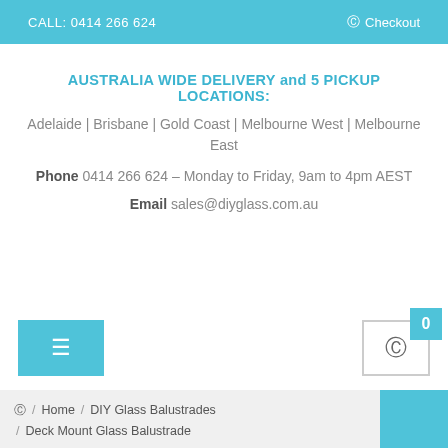CALL: 0414 266 624   Checkout
AUSTRALIA WIDE DELIVERY and 5 PICKUP LOCATIONS:
Adelaide | Brisbane | Gold Coast | Melbourne West | Melbourne East
Phone 0414 266 624 – Monday to Friday, 9am to 4pm AEST
Email sales@diyglass.com.au
0
Home / DIY Glass Balustrades / Deck Mount Glass Balustrade / Deck Mount Glass Balustrade Using Channel